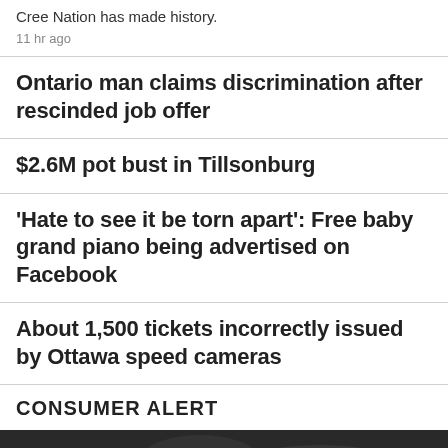Cree Nation has made history.
11 hr ago
Ontario man claims discrimination after rescinded job offer
$2.6M pot bust in Tillsonburg
'Hate to see it be torn apart': Free baby grand piano being advertised on Facebook
About 1,500 tickets incorrectly issued by Ottawa speed cameras
CONSUMER ALERT
[Figure (photo): Dark photo partially visible at bottom of page]